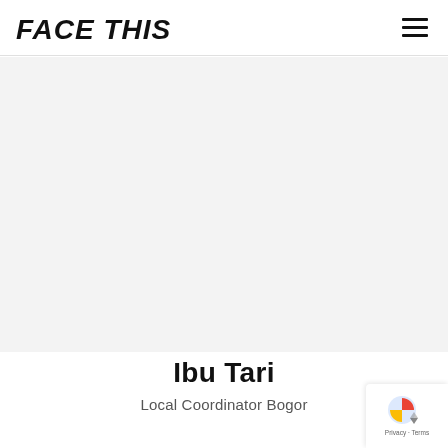FACE THiS
[Figure (other): Large light gray empty content area placeholder for a person photo]
Ibu Tari
Local Coordinator Bogor